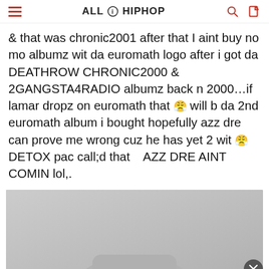ALL HIP HOP
& that was chronic2001 after that I aint buy no mo albumz wit da euromath logo after i got da DEATHROW CHRONIC2000 & 2GANGSTA4RADIO albumz back n 2000…if lamar dropz on euromath that will b da 2nd euromath album i bought hopefully azz dre can prove me wrong cuz he has yet 2 wit DETOX pac call;d that 😤 AZZ DRE AINT COMIN lol,.
[Figure (photo): Gray advertisement image block showing a product silhouette against a gray background]
[Figure (screenshot): Nike advertisement banner: Nike. Just Do It. Inspiring the world's athletes, Nike delivers the deals. www.nike.com]